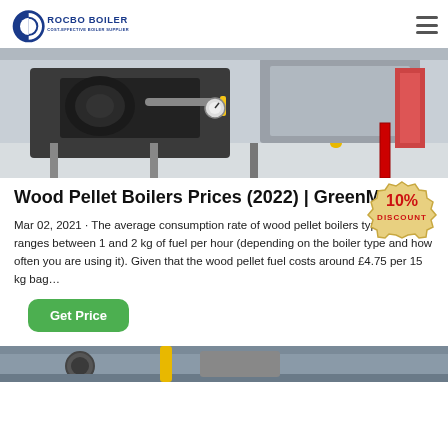ROCBO BOILER — COST-EFFECTIVE BOILER SUPPLIER
[Figure (photo): Close-up photo of industrial wood pellet boiler equipment with yellow pipe and machinery components in a warehouse setting]
Wood Pellet Boilers Prices (2022) | GreenMatch
[Figure (illustration): 10% DISCOUNT badge/stamp graphic in red and tan colors]
Mar 02, 2021 · The average consumption rate of wood pellet boilers typically ranges between 1 and 2 kg of fuel per hour (depending on the boiler type and how often you are using it). Given that the wood pellet fuel costs around £4.75 per 15 kg bag…
Get Price
[Figure (photo): Bottom portion of another industrial boiler photo, partially visible]